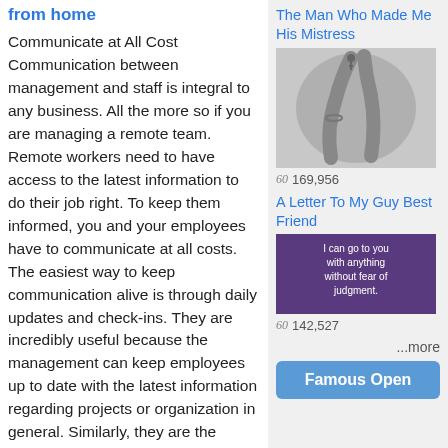from home
Communicate at All Cost Communication between management and staff is integral to any business. All the more so if you are managing a remote team. Remote workers need to have access to the latest information to do their job right. To keep them informed, you and your employees have to communicate at all costs. The easiest way to keep communication alive is through daily updates and check-ins. They are incredibly useful because the management can keep employees up to date with the latest information regarding projects or organization in general. Similarly, they are the perfect opportunity for employees to ask questions or express
The Man Who Made Me His Mistress
[Figure (photo): Black and white photo of legs raised in the air]
169,956
A Letter To My Guy Best Friend
[Figure (photo): Purple background with white text: I can go to you with anything without fear of judgment.]
142,527
...more
Famous Open